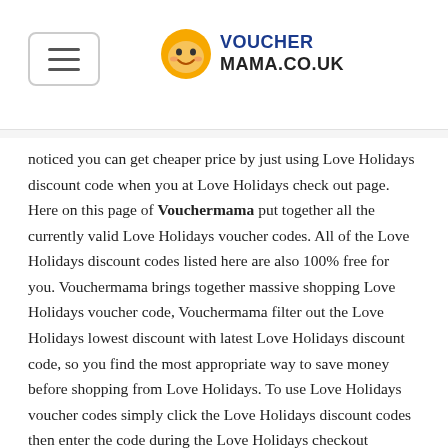VOUCHERMAMA.CO.UK
noticed you can get cheaper price by just using Love Holidays discount code when you at Love Holidays check out page. Here on this page of Vouchermama put together all the currently valid Love Holidays voucher codes. All of the Love Holidays discount codes listed here are also 100% free for you. Vouchermama brings together massive shopping Love Holidays voucher code, Vouchermama filter out the Love Holidays lowest discount with latest Love Holidays discount code, so you find the most appropriate way to save money before shopping from Love Holidays. To use Love Holidays voucher codes simply click the Love Holidays discount codes then enter the code during the Love Holidays checkout process. On request, you can also subscribe to the Vouchermama free newsletter,we will provide you with the latest Love Holidays discount codes automatically . So that you can save on your every order from Love Holidays.
Vouchermama offers all active discount information available of Love